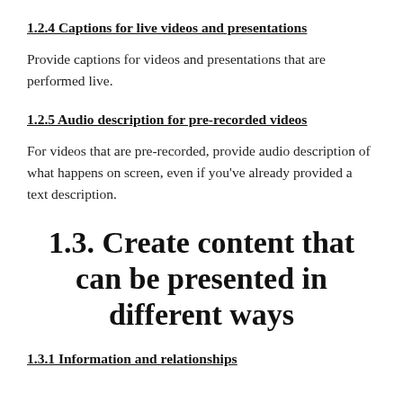1.2.4 Captions for live videos and presentations
Provide captions for videos and presentations that are performed live.
1.2.5 Audio description for pre-recorded videos
For videos that are pre-recorded, provide audio description of what happens on screen, even if you’ve already provided a text description.
1.3. Create content that can be presented in different ways
1.3.1 Information and relationships